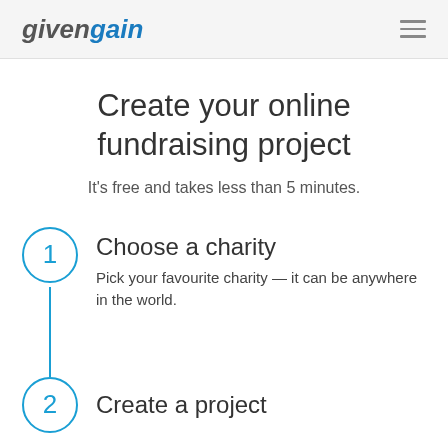givengain
Create your online fundraising project
It's free and takes less than 5 minutes.
1 Choose a charity — Pick your favourite charity — it can be anywhere in the world.
2 Create a project